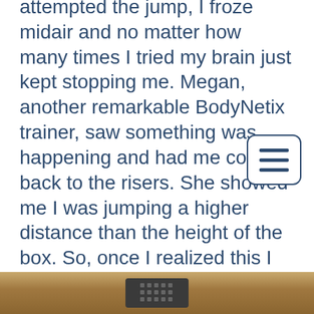attempted the jump, I froze midair and no matter how many times I tried my brain just kept stopping me. Megan, another remarkable BodyNetix trainer, saw something was happening and had me come back to the risers. She showed me I was jumping a higher distance than the height of the box. So, once I realized this I went back to the box and tried again. Unfortunately, the block kept over powering me. With my now pregnant situation, I am no longer participating in such risky exercises, but mark my words as soon as I am back training I will conquer this mental block!
[Figure (other): Navigation menu hamburger button icon with three horizontal lines, white background with dark blue border and rounded corners]
[Figure (photo): Bottom portion of page showing what appears to be gym equipment — a horizontal bar or beam with a dark center grip/attachment point, in brown/tan metallic colors]